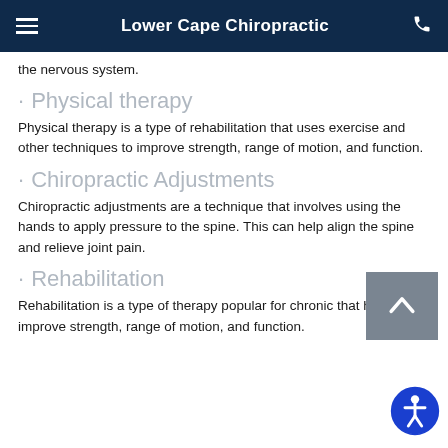Lower Cape Chiropractic
the nervous system.
· Physical therapy
Physical therapy is a type of rehabilitation that uses exercise and other techniques to improve strength, range of motion, and function.
· Chiropractic Adjustments
Chiropractic adjustments are a technique that involves using the hands to apply pressure to the spine. This can help align the spine and relieve joint pain.
· Rehabilitation
Rehabilitation is a type of therapy popular for chronic that helps improve strength, range of motion, and function.